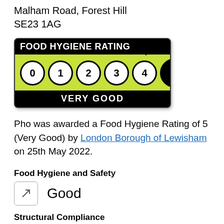Malham Road, Forest Hill
SE23 1AG
[Figure (infographic): Food Hygiene Rating badge showing rating of 5 (Very Good), with numbers 0-4 in white circles and 5 highlighted in black circle on green background, with 'VERY GOOD' text on black footer bar]
Pho was awarded a Food Hygiene Rating of 5 (Very Good) by London Borough of Lewisham on 25th May 2022.
Food Hygiene and Safety
Good
Structural Compliance